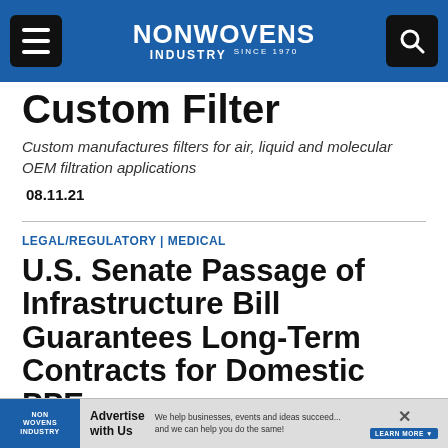NONWOVENS INDUSTRY (since 1970)
Custom Filter
Custom manufactures filters for air, liquid and molecular OEM filtration applications
08.11.21
LEGAL/REGULATORY | MEDICAL
U.S. Senate Passage of Infrastructure Bill Guarantees Long-Term Contracts for Domestic PPE
[Figure (infographic): Nonwovens Industry advertisement banner at the bottom of the page with 'Advertise with Us' text and promotional copy.]